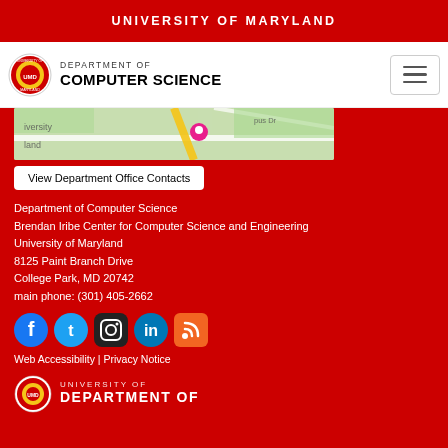UNIVERSITY OF MARYLAND
[Figure (logo): University of Maryland Department of Computer Science logo with navigation hamburger menu]
[Figure (map): Partial map showing University of Maryland campus with location pin]
View Department Office Contacts
Department of Computer Science
Brendan Iribe Center for Computer Science and Engineering
University of Maryland
8125 Paint Branch Drive
College Park, MD 20742
main phone: (301) 405-2662
[Figure (infographic): Social media icons: Facebook, Twitter, Instagram, LinkedIn, RSS]
Web Accessibility | Privacy Notice
[Figure (logo): University of Maryland Department of Computer Science logo at bottom (partial)]